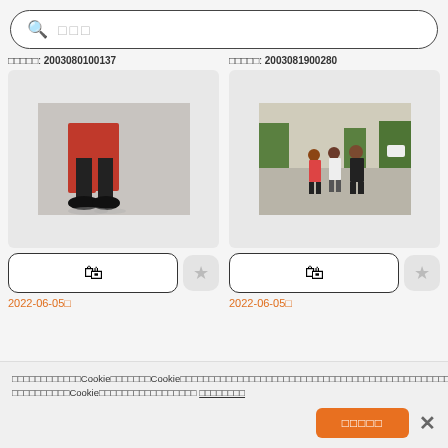□□□ (search bar placeholder)
□□□□□: 2003080100137
□□□□□: 2003081900280
[Figure (photo): Close-up of person's legs walking, wearing red coat and black pants with sneakers on grey pavement]
[Figure (photo): Three people standing on an open paved area with green trees in background]
2022-06-05□
2022-06-05□
Cookie banner text in Chinese characters referencing Cookie policy
□□□□□□□□ (accept button)